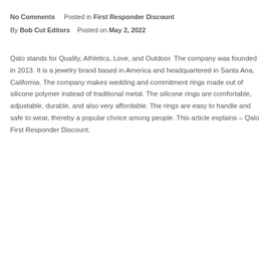No Comments   Posted in First Responder Discount
By Bob Cut Editors   Posted on May 2, 2022
Qalo stands for Quality, Athletics, Love, and Outdoor. The company was founded in 2013. It is a jewelry brand based in America and headquartered in Santa Ana, California. The company makes wedding and commitment rings made out of silicone polymer instead of traditional metal. The silicone rings are comfortable, adjustable, durable, and also very affordable. The rings are easy to handle and safe to wear, thereby a popular choice among people. This article explains – Qalo First Responder Discount.